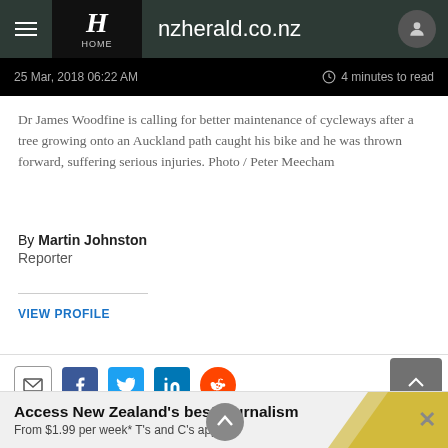nzherald.co.nz
25 Mar, 2018 06:22 AM   4 minutes to read
Dr James Woodfine is calling for better maintenance of cycleways after a tree growing onto an Auckland path caught his bike and he was thrown forward, suffering serious injuries. Photo / Peter Meecham
By Martin Johnston
Reporter
VIEW PROFILE
[Figure (infographic): Social share icons: email, Facebook, Twitter, LinkedIn, Reddit]
The yellow helmet that wa rapped onto commuter